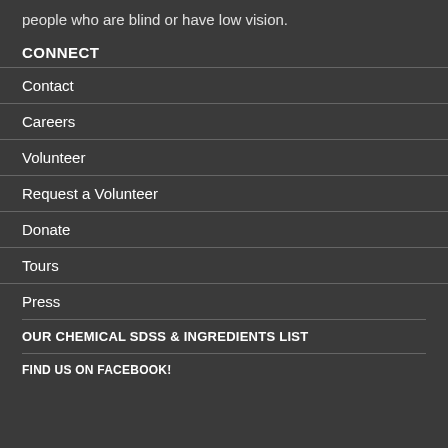people who are blind or have low vision.
CONNECT
Contact
Careers
Volunteer
Request a Volunteer
Donate
Tours
Press
OUR CHEMICAL SDSs & INGREDIENTS LIST
FIND US ON FACEBOOK!